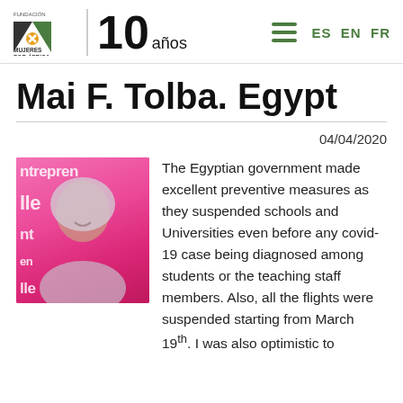FUNDACIÓN MUJERES POR ÁFRICA | 10 años | ES EN FR
Mai F. Tolba. Egypt
04/04/2020
[Figure (photo): Photo of Mai F. Tolba, a woman wearing a hijab, smiling, in front of a pink background with the word 'ntrepren' visible]
The Egyptian government made excellent preventive measures as they suspended schools and Universities even before any covid-19 case being diagnosed among students or the teaching staff members. Also, all the flights were suspended starting from March 19th. I was also optimistic to